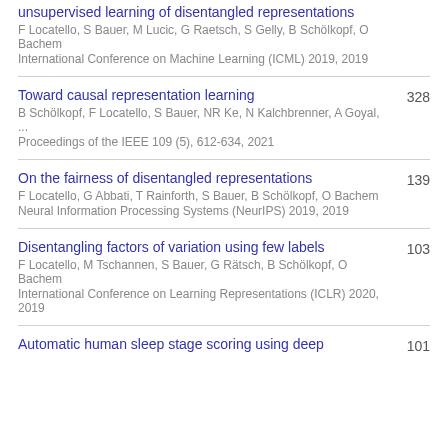unsupervised learning of disentangled representations
F Locatello, S Bauer, M Lucic, G Raetsch, S Gelly, B Schölkopf, O Bachem
International Conference on Machine Learning (ICML) 2019, 2019
Toward causal representation learning
B Schölkopf, F Locatello, S Bauer, NR Ke, N Kalchbrenner, A Goyal, ...
Proceedings of the IEEE 109 (5), 612-634, 2021
328
On the fairness of disentangled representations
F Locatello, G Abbati, T Rainforth, S Bauer, B Schölkopf, O Bachem
Neural Information Processing Systems (NeurIPS) 2019, 2019
139
Disentangling factors of variation using few labels
F Locatello, M Tschannen, S Bauer, G Rätsch, B Schölkopf, O Bachem
International Conference on Learning Representations (ICLR) 2020, 2019
103
Automatic human sleep stage scoring using deep
101